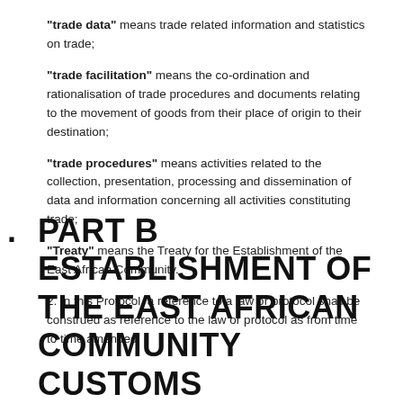"trade data" means trade related information and statistics on trade;
"trade facilitation" means the co-ordination and rationalisation of trade procedures and documents relating to the movement of goods from their place of origin to their destination;
"trade procedures" means activities related to the collection, presentation, processing and dissemination of data and information concerning all activities constituting trade;
"Treaty" means the Treaty for the Establishment of the East African Community.
2. In this Protocol, a reference to a law or protocol shall be construed as reference to the law or protocol as from time to time amended.
PART B ESTABLISHMENT OF THE EAST AFRICAN COMMUNITY CUSTOMS